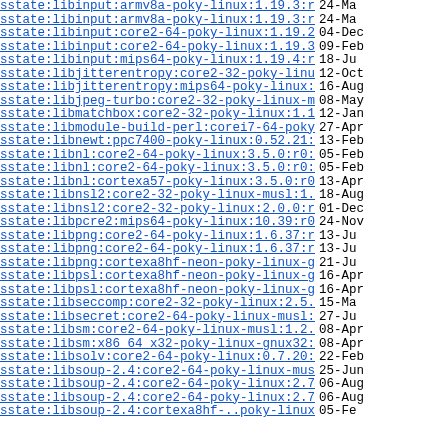sstate:libinput:armv8a-poky-linux:1.19.3:r0:arm..> 24-Ma
sstate:libinput:armv8a-poky-linux:1.19.3:r0:arm..> 24-Ma
sstate:libinput:core2-64-poky-linux:1.19.2:r0:c..> 04-Dec
sstate:libinput:core2-64-poky-linux:1.19.3:r0:c..> 09-Feb
sstate:libinput:mips64-poky-linux:1.19.4:r0:mip..> 18-Ju
sstate:libjitterentropy:core2-32-poky-linux-mus..> 12-Oct
sstate:libjitterentropy:mips64-poky-linux:3.4.0..> 16-Aug
sstate:libjpeg-turbo:core2-32-poky-linux-musl:2..> 08-May
sstate:libmatchbox:core2-32-poky-linux:1.12:r0:..> 12-Jan
sstate:libmodule-build-perl:corei7-64-poky-linu..> 27-Apr
sstate:libnewt:ppc7400-poky-linux:0.52.21:r0:pp..> 13-Feb
sstate:libnl:core2-64-poky-linux:3.5.0:r0:core2..> 05-Feb
sstate:libnl:core2-64-poky-linux:3.5.0:r0:core2..> 05-Feb
sstate:libnl:cortexa57-poky-linux:3.5.0:r0:cort..> 13-Apr
sstate:libnsl2:core2-32-poky-linux-musl:1.2.0+g..> 18-Aug
sstate:libnsl2:core2-32-poky-linux:2.0.0:r0:cor..> 01-Dec
sstate:libpcre2:mips64-poky-linux:10.39:r0:mips..> 24-Nov
sstate:libpng:core2-64-poky-linux:1.6.37:r0:cor..> 13-Ju
sstate:libpng:core2-64-poky-linux:1.6.37:r0:cor..> 13-Ju
sstate:libpng:cortexa8hf-neon-poky-linux-gnueab..> 21-Ju
sstate:libpsl:cortexa8hf-neon-poky-linux-gnueab..> 16-Apr
sstate:libpsl:cortexa8hf-neon-poky-linux-gnueab..> 16-Apr
sstate:libseccomp:core2-32-poky-linux:2.5.3:r0:..> 15-Ma
sstate:libsecret:core2-64-poky-linux-musl:0.20...> 27-Ju
sstate:libsm:core2-64-poky-linux-musl:1.2.3:r0:..> 08-Apr
sstate:libsm:x86_64_x32-poky-linux-gnux32:1.2.3..> 08-Apr
sstate:libsolv:core2-64-poky-linux:0.7.20:r0:co..> 22-Feb
sstate:libsoup-2.4:core2-64-poky-linux-musl:2.7..> 25-Jun
sstate:libsoup-2.4:core2-64-poky-linux:2.74.2:r..> 06-Aug
sstate:libsoup-2.4:core2-64-poky-linux:2.74.2:r..> 06-Aug
sstate:libsoup-2.4:cortexa8hf-...-poky-linux:.. 05-Fe